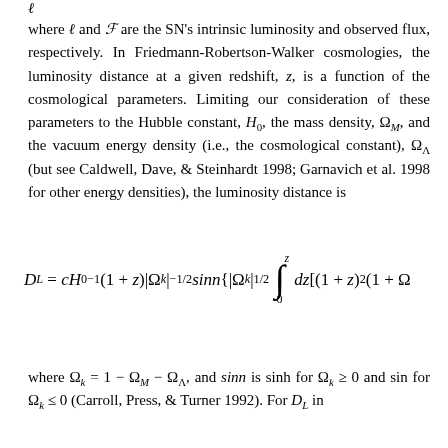where L and F are the SN's intrinsic luminosity and observed flux, respectively. In Friedmann-Robertson-Walker cosmologies, the luminosity distance at a given redshift, z, is a function of the cosmological parameters. Limiting our consideration of these parameters to the Hubble constant, H_0, the mass density, Omega_M, and the vacuum energy density (i.e., the cosmological constant), Omega_Lambda (but see Caldwell, Dave, & Steinhardt 1998; Garnavich et al. 1998 for other energy densities), the luminosity distance is
where Omega_k = 1 - Omega_M - Omega_Lambda, and sinn is sinh for Omega_k >= 0 and sin for Omega_k <= 0 (Carroll, Press, & Turner 1992). For D_L in